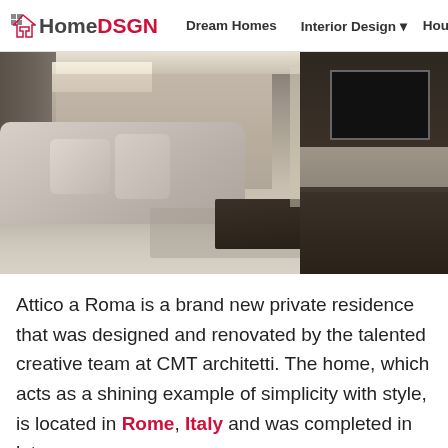HomeDSGN  Dream Homes  Interior Design  Hou
[Figure (photo): Modern living room interior with large sectional sofa, dark coffee table, TV unit on the right, hardwood floors, and a corridor visible in the background. Neutral tones throughout.]
Attico a Roma is a brand new private residence that was designed and renovated by the talented creative team at CMT architetti. The home, which acts as a shining example of simplicity with style, is located in Rome, Italy and was completed in late 2016.